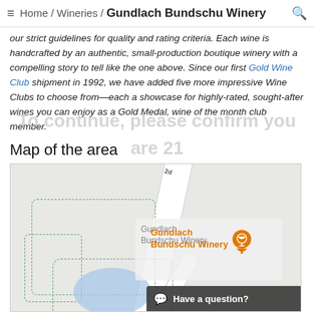Home / Wineries / Gundlach Bundschu Winery
our strict guidelines for quality and rating criteria. Each wine is handcrafted by an authentic, small-production boutique winery with a compelling story to tell like the one above. Since our first Gold Wine Club shipment in 1992, we have added five more impressive Wine Clubs to choose from—each a showcase for highly-rated, sought-after wines you can enjoy as a Gold Medal, wine of the month club member.
To continue, please confirm you are 21
first 21 years old
Map of the area
[Figure (map): Map showing the location of Gundlach Bundschu Winery with an orange pin marker, property outlines in dashed green, a blue lake feature, and a road. An info panel shows 'Gundlach Bundschu Winery' in grey. A 'Have a question?' chat bar appears at bottom right.]